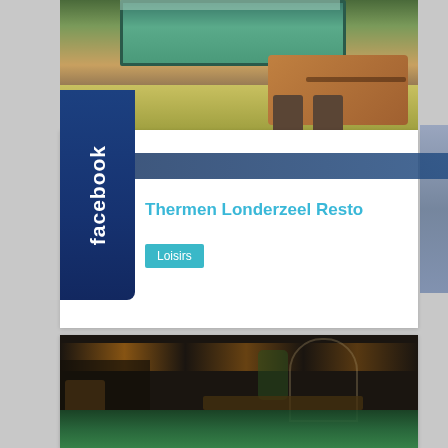[Figure (photo): Interior photo of a restaurant with fish aquarium, wooden tables and chairs, yellow cabinet]
[Figure (logo): Facebook logo badge in dark blue with white text 'facebook' rotated vertically]
Thermen Londerzeel Resto
Loisirs
[Figure (photo): Dark interior photo of a bar/restaurant with warm lighting, bar counter, arches, and aquarium at the bottom]